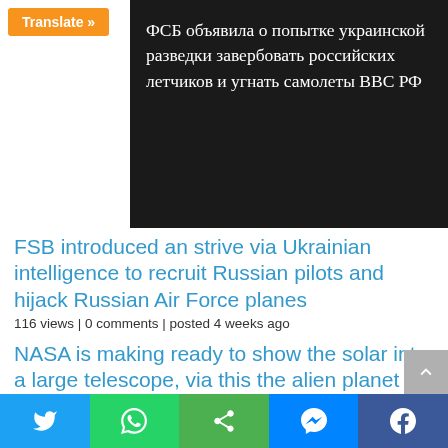Translate »
[Figure (screenshot): Dark background image with Russian text: ФСБ объявила о попытке украинской разведки завербовать российских летчиков и угнать самолеты ВВС РФ]
FSB introduced an strive via Ukrainian intelligence to recruit Russian pilots and hijack Russian Air Force planes
116 views | 0 comments | posted 4 weeks ago
NASA is making ready to show the solar into a large telescope, via this the alien planet will see
116 views | 0 comments | posted 3 weeks ago
Big motion on 3 Congress MLAs of Jharkhand trapped in money scandal